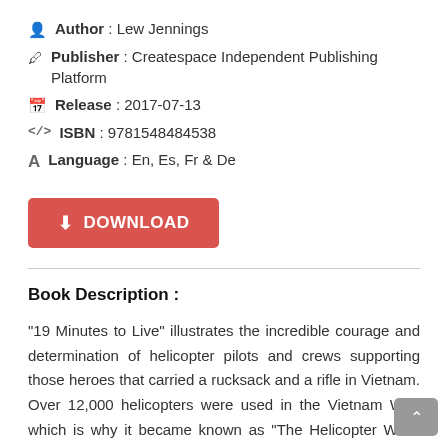Author : Lew Jennings
Publisher : Createspace Independent Publishing Platform
Release : 2017-07-13
ISBN : 9781548484538
Language : En, Es, Fr & De
[Figure (other): Red DOWNLOAD button with download icon]
Book Description :
"19 Minutes to Live" illustrates the incredible courage and determination of helicopter pilots and crews supporting those heroes that carried a rucksack and a rifle in Vietnam. Over 12,000 helicopters were used in the Vietnam War, which is why it became known as "The Helicopter War". Almost half of the helicopters, 5,086 were lost. Helicopter pilots and crews accounted for